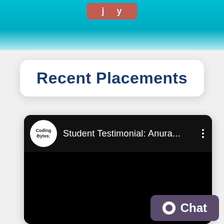[Figure (screenshot): Teal/cyan top bar with a red button partially visible at the top]
Recent Placements
[Figure (screenshot): YouTube-style video card with Coding Bytes channel logo and title 'Student Testimonial: Anura...' with three-dot menu. Video area is black (not loaded). Chat button visible in bottom right corner.]